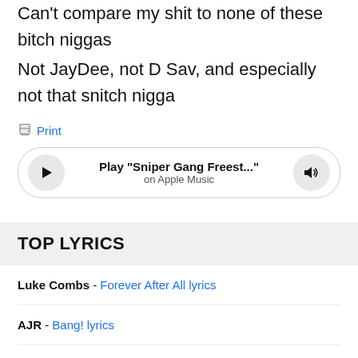Can't compare my shit to none of these bitch niggas
Not JayDee, not D Sav, and especially not that snitch nigga
Print
[Figure (other): Apple Music player widget showing Play 'Sniper Gang Freest...' on Apple Music]
TOP LYRICS
Luke Combs - Forever After All lyrics
AJR - Bang! lyrics
24kGoldn - Mood lyrics